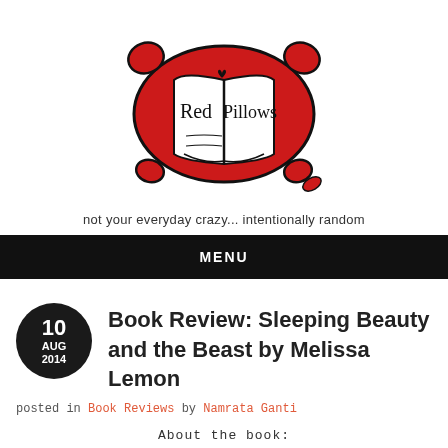[Figure (logo): Red Pillows blog logo: a red pillow with an open book illustration, text 'Red Pillows' written on the book pages in handwritten style]
not your everyday crazy... intentionally random
MENU
Book Review: Sleeping Beauty and the Beast by Melissa Lemon
posted in Book Reviews by Namrata Ganti
About the book: